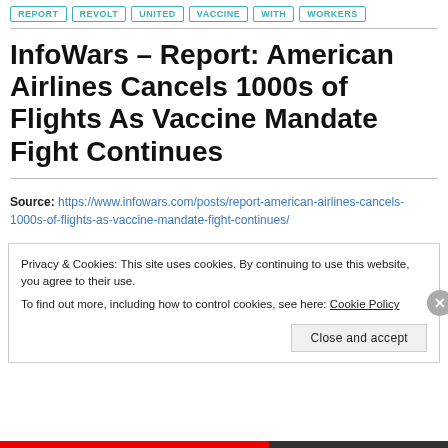REPORT | REVOLT | UNITED | VACCINE | WITH | WORKERS
InfoWars – Report: American Airlines Cancels 1000s of Flights As Vaccine Mandate Fight Continues
Source: https://www.infowars.com/posts/report-american-airlines-cancels-1000s-of-flights-as-vaccine-mandate-fight-continues/
Privacy & Cookies: This site uses cookies. By continuing to use this website, you agree to their use.
To find out more, including how to control cookies, see here: Cookie Policy